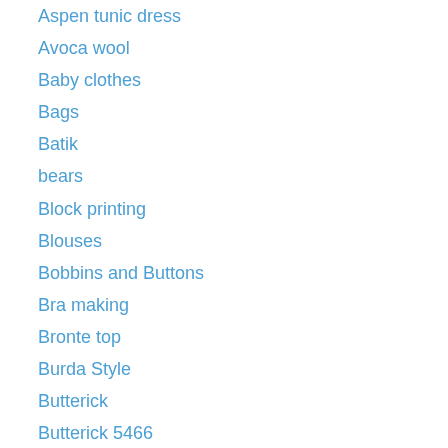Aspen tunic dress
Avoca wool
Baby clothes
Bags
Batik
bears
Block printing
Blouses
Bobbins and Buttons
Bra making
Bronte top
Burda Style
Butterick
Butterick 5466
Cap
Cardigan
Chelsea collection
Children's clothes
Christine Haynes
Claire Cami